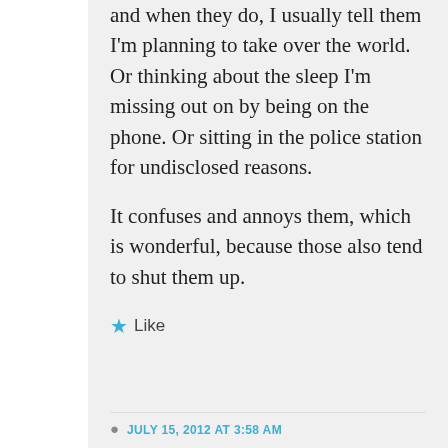and when they do, I usually tell them I'm planning to take over the world. Or thinking about the sleep I'm missing out on by being on the phone. Or sitting in the police station for undisclosed reasons.

It confuses and annoys them, which is wonderful, because those also tend to shut them up.
★ Like
JULY 15, 2012 AT 3:58 AM